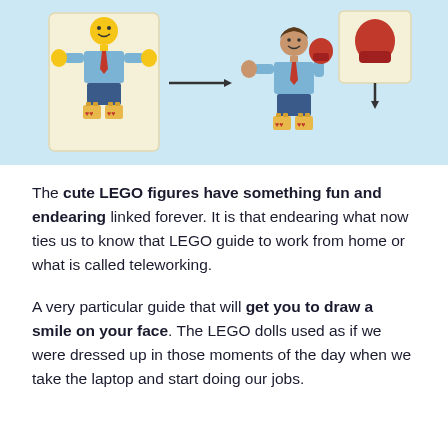[Figure (illustration): LEGO figures illustration on a light blue background showing assembly/dressing process: a LEGO minifigure in a card on the left, an arrow pointing right to an assembled LEGO figure in the center, and a red boxing glove/mitten on a card above-right with an arrow pointing down to the figure's hand.]
The cute LEGO figures have something fun and endearing linked forever. It is that endearing what now ties us to know that LEGO guide to work from home or what is called teleworking.
A very particular guide that will get you to draw a smile on your face. The LEGO dolls used as if we were dressed up in those moments of the day when we take the laptop and start doing our jobs.